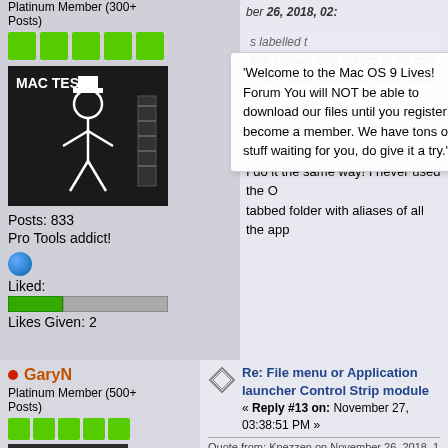Platinum Member (300+ Posts)
[Figure (illustration): Four green squares representing rank badges]
[Figure (illustration): MAC TEST stick figure avatar on dark background]
Posts: 833
Pro Tools addict!
[Figure (illustration): Globe icon]
Liked:
[Figure (other): Likes progress bar, green and gray]
Likes Given: 2
'Welcome to the Mac OS 9 Lives! Forum You will NOT be able to download our files until you register to become a member. We have tons of FREE stuff waiting for you, do give it a try.'
I actually have four folders labelled that contain only aliases to my com... That makes it possible to sort and la... actual locations. Very handy.
I do it the same way! I never used the O... tabbed folder with aliases of all the app...
GaryN
Platinum Member (500+ Posts)
[Figure (illustration): Five green squares representing rank badges]
Re: File menu or Application launcher Control Strip module
« Reply #13 on: November 27, 03:38:51 PM »
Quote from: Knezzen on November 26, 2018, 1
Quote from: GaryN on November 26, 2018,